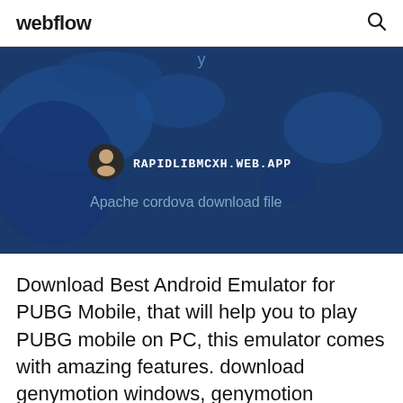webflow
[Figure (screenshot): A dark blue map background with a circular avatar icon and the text RAPIDLIBMCXH.WEB.APP in white uppercase monospace font. Below it reads 'Apache cordova download file' in lighter blue-gray text.]
Download Best Android Emulator for PUBG Mobile, that will help you to play PUBG mobile on PC, this emulator comes with amazing features. download genymotion windows, genymotion windows, genymotion